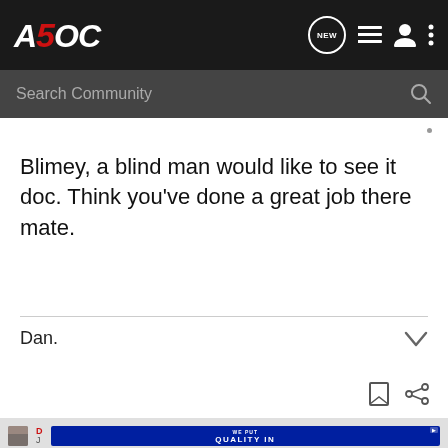A5OC — Search Community
Blimey, a blind man would like to see it doc. Think you've done a great job there mate.
Dan.
[Figure (screenshot): Bottom of forum post page with avatar thumbnail and a blue advertisement banner reading WE PUT QUALITY IN]